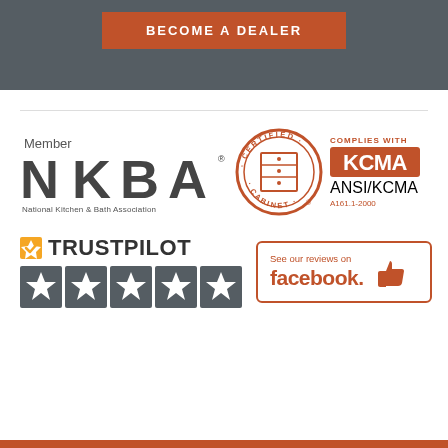BECOME A DEALER
[Figure (logo): NKBA Member logo - National Kitchen & Bath Association]
[Figure (logo): KCMA Certified Cabinet logo - Complies With KCMA ANSI/KCMA A161.1-2000]
[Figure (logo): Trustpilot logo with 5 green stars rating]
[Figure (logo): See our reviews on facebook thumbs up badge]